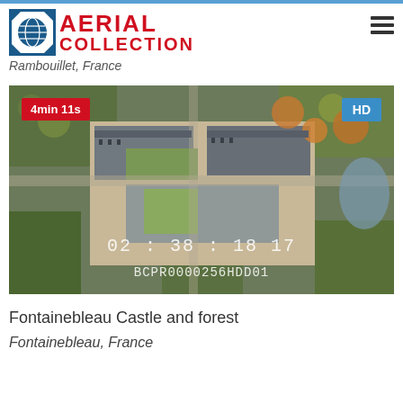AERIAL COLLECTION
Rambouillet, France
[Figure (photo): Aerial photograph of Fontainebleau Castle and surrounding forest, showing the chateau complex from above with green courtyards and surrounding tree canopy. Overlaid timecode 02:38:18:17, clip ID BCPR0000256HDD01, duration badge 4min 11s, and HD quality badge.]
Fontainebleau Castle and forest
Fontainebleau, France